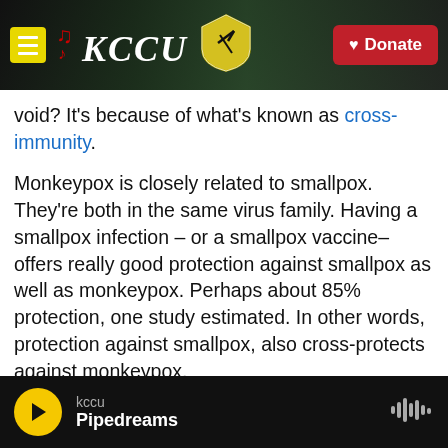KCCU — Donate
void? It's because of what's known as cross-immunity.
Monkeypox is closely related to smallpox. They're both in the same virus family. Having a smallpox infection – or a smallpox vaccine– offers really good protection against smallpox as well as monkeypox. Perhaps about 85% protection, one study estimated. In other words, protection against smallpox, also cross-protects against monkeypox.
So back in the 1970s, essentially the entire world's population had some immunity to monkeypox, says
kccu Pipedreams